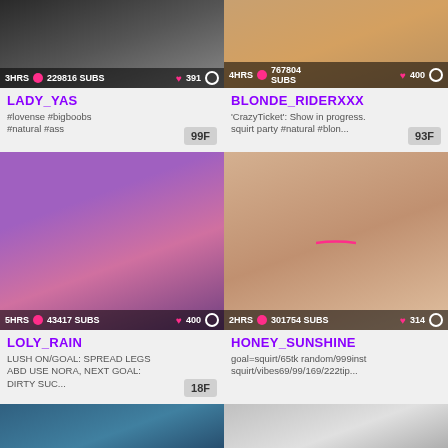[Figure (screenshot): Webcam thumbnail of dark-haired woman]
3HRS 229816 SUBS 391
LADY_YAS
#lovense #bigboobs #natural #ass
99F
[Figure (screenshot): Webcam thumbnail showing skin/body]
4HRS 767804 SUBS 400
BLONDE_RIDERXXX
'CrazyTicket': Show in progress. squirt party #natural #blon...
93F
[Figure (screenshot): Webcam thumbnail of blonde woman at gaming setup]
5HRS 43417 SUBS 400
LOLY_RAIN
LUSH ON/GOAL: SPREAD LEGS ABD USE NORA, NEXT GOAL: DIRTY SUC...
18F
[Figure (screenshot): Webcam thumbnail showing body from behind]
2HRS 301754 SUBS 314
HONEY_SUNSHINE
goal=squirt/65tk random/999inst squirt/vibes69/99/169/222tip...
[Figure (screenshot): Partial thumbnail with colorful hair]
[Figure (screenshot): Partial thumbnail in black and white]